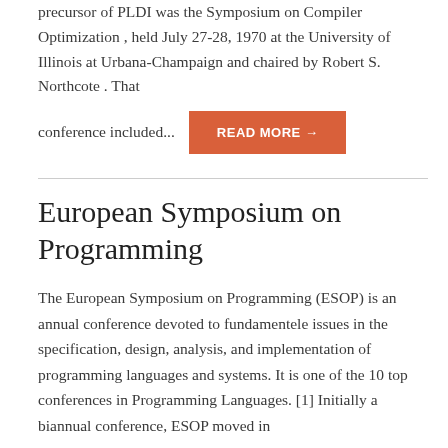precursor of PLDI was the Symposium on Compiler Optimization , held July 27-28, 1970 at the University of Illinois at Urbana-Champaign and chaired by Robert S. Northcote . That conference included...
READ MORE →
European Symposium on Programming
The European Symposium on Programming (ESOP) is an annual conference devoted to fundamentele issues in the specification, design, analysis, and implementation of programming languages and systems. It is one of the 10 top conferences in Programming Languages. [1] Initially a biannual conference, ESOP moved in